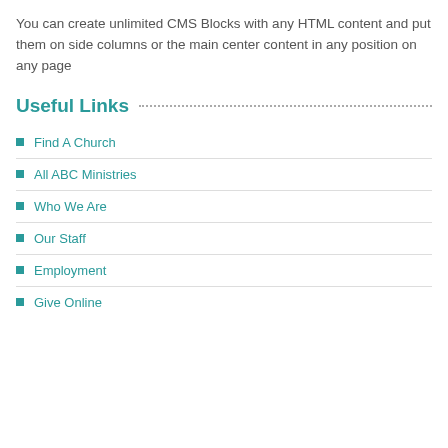You can create unlimited CMS Blocks with any HTML content and put them on side columns or the main center content in any position on any page
Useful Links
Find A Church
All ABC Ministries
Who We Are
Our Staff
Employment
Give Online